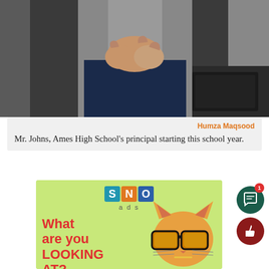[Figure (photo): Partial view of a person (Mr. Johns) in a grey blazer and dark pants, hands clasped, standing in an office environment with a keyboard visible in background.]
Humza Maqsood
Mr. Johns, Ames High School's principal starting this school year.
[Figure (illustration): SNO ads advertisement banner with green background featuring a cat wearing orange sunglasses. Text reads 'What are you LOOKING AT?' with SNO logo (S in blue, N in orange, O in dark blue) and 'ads' below.]